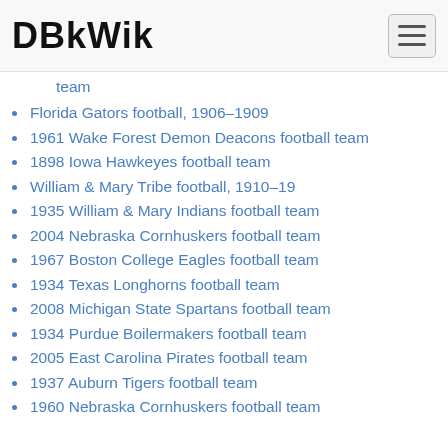DBkWik
[partial item from previous page] ...football team
Florida Gators football, 1906–1909
1961 Wake Forest Demon Deacons football team
1898 Iowa Hawkeyes football team
William & Mary Tribe football, 1910–19
1935 William & Mary Indians football team
2004 Nebraska Cornhuskers football team
1967 Boston College Eagles football team
1934 Texas Longhorns football team
2008 Michigan State Spartans football team
1934 Purdue Boilermakers football team
2005 East Carolina Pirates football team
1937 Auburn Tigers football team
1960 Nebraska Cornhuskers football team [continues]